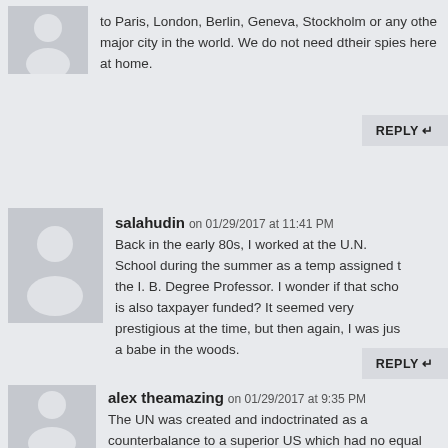to Paris, London, Berlin, Geneva, Stockholm or any other major city in the world. We do not need dtheir spies here at home.
REPLY
salahudin on 01/29/2017 at 11:41 PM
Back in the early 80s, I worked at the U.N. School during the summer as a temp assigned to the I. B. Degree Professor. I wonder if that school is also taxpayer funded? It seemed very prestigious at the time, but then again, I was just a babe in the woods.
REPLY
alex theamazing on 01/29/2017 at 9:35 PM
The UN was created and indoctrinated as a counterbalance to a superior US which had no equal